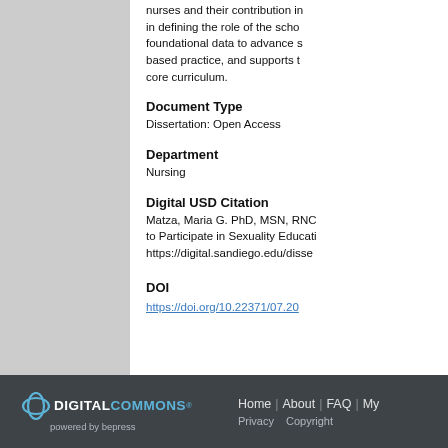nurses and their contribution in defining the role of the school nurse, foundational data to advance school-based practice, and supports the core curriculum.
Document Type
Dissertation: Open Access
Department
Nursing
Digital USD Citation
Matza, Maria G. PhD, MSN, RNC... to Participate in Sexuality Education... https://digital.sandiego.edu/disser...
DOI
https://doi.org/10.22371/07.20...
Digital Commons powered by bepress | Home | About | FAQ | My... | Privacy | Copyright